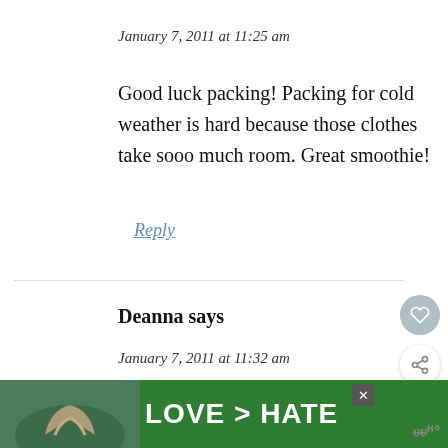January 7, 2011 at 11:25 am
Good luck packing! Packing for cold weather is hard because those clothes take sooo much room. Great smoothie!
Reply
Deanna says
January 7, 2011 at 11:32 am
Have a great trip to MT! As a MT native, I
[Figure (screenshot): LOVE > HATE advertisement banner at bottom of page with hands forming a heart shape]
WHAT'S NEXT → FIVE